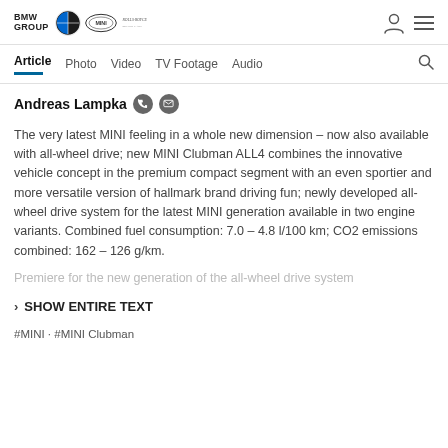BMW GROUP | BMW | MINI | ROLLS-ROYCE
Article  Photo  Video  TV Footage  Audio
Andreas Lampka
The very latest MINI feeling in a whole new dimension – now also available with all-wheel drive; new MINI Clubman ALL4 combines the innovative vehicle concept in the premium compact segment with an even sportier and more versatile version of hallmark brand driving fun; newly developed all-wheel drive system for the latest MINI generation available in two engine variants. Combined fuel consumption: 7.0 – 4.8 l/100 km; CO2 emissions combined: 162 – 126 g/km.
Premiere for the new generation of the all-wheel drive system
> SHOW ENTIRE TEXT
#MINI · #MINI Clubman